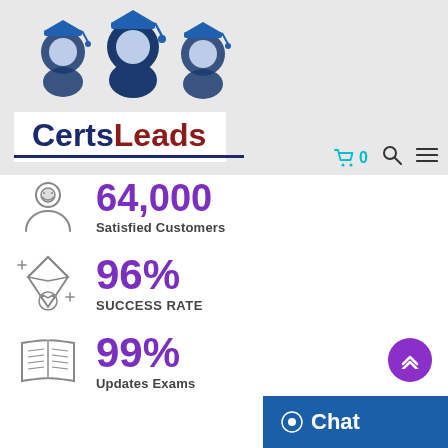[Figure (logo): CertsLeads logo with three graduation-capped figures above the text 'CertsLeads' in navy and dark red on a white banner, with a navy underline, on a light grey header background]
64,000 Satisfied Customers
96% SUCCESS RATE
99% Updates Exams
[Figure (other): Purple scroll-to-top button with double chevron up arrows, and a blue Chat button with chat bubble icon in bottom right corner]